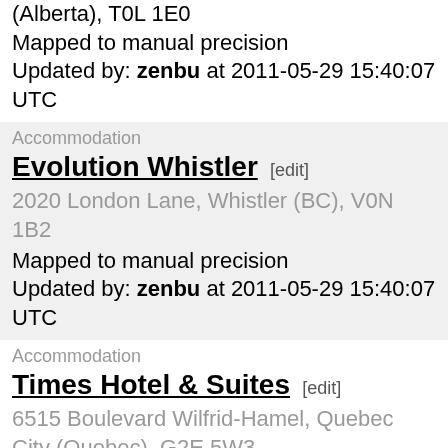(Alberta), T0L 1E0
Mapped to manual precision
Updated by: zenbu at 2011-05-29 15:40:07 UTC
Accommodation
Evolution Whistler [edit]
2020 London Lane, Whistler (BC), V0N 1B2
Mapped to manual precision
Updated by: zenbu at 2011-05-29 15:40:07 UTC
Accommodation
Times Hotel & Suites [edit]
6515 Boulevard Wilfrid-Hamel, Quebec City (Quebec), G2E 5W3
Mapped to manual precision
Updated by: zenbu at 2011-05-29 15:40:07 UTC
Accommodation
Holiday Inn Toronto-Brampton Conference Center [edit]
30 Peel Centre Drive, Brampton